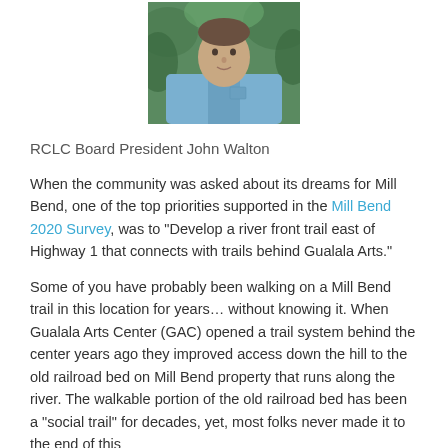[Figure (photo): Headshot photo of RCLC Board President John Walton, a man in a blue shirt with green foliage background]
RCLC Board President John Walton
When the community was asked about its dreams for Mill Bend, one of the top priorities supported in the Mill Bend 2020 Survey, was to “Develop a river front trail east of Highway 1 that connects with trails behind Gualala Arts.”
Some of you have probably been walking on a Mill Bend trail in this location for years… without knowing it. When Gualala Arts Center (GAC) opened a trail system behind the center years ago they improved access down the hill to the old railroad bed on Mill Bend property that runs along the river. The walkable portion of the old railroad bed has been a “social trail” for decades, yet, most folks never made it to the end of this